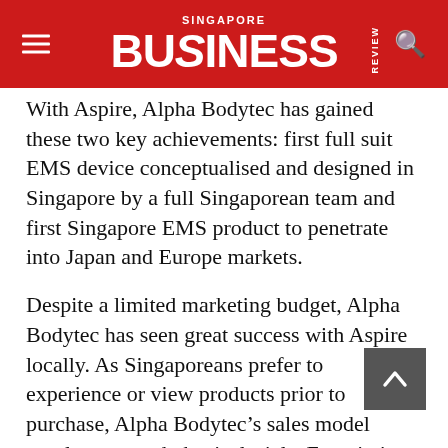SINGAPORE BUSINESS REVIEW
With Aspire, Alpha Bodytec has gained these two key achievements: first full suit EMS device conceptualised and designed in Singapore by a full Singaporean team and first Singapore EMS product to penetrate into Japan and Europe markets.
Despite a limited marketing budget, Alpha Bodytec has seen great success with Aspire locally. As Singaporeans prefer to experience or view products prior to purchase, Alpha Bodytec's sales model revolves around physical trials. Even in its early stages, Aspire's experiential trials have achieved staggering conversion rates of up to 70%.
Alpha Bodytec aims to make EMS technology available to everybody around the world and share